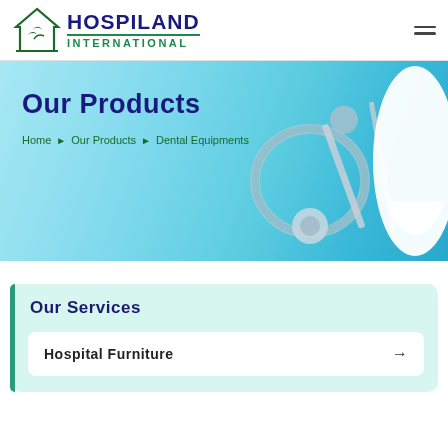[Figure (logo): Hospiland International logo with bird/medical icon and company name in navy and green]
[Figure (photo): Dental equipment photo banner: white tooth model, stethoscope, dental mirror and probe tools on light blue background]
Our Products
Home › Our Products › Dental Equipments
Our Services
Hospital Furniture →